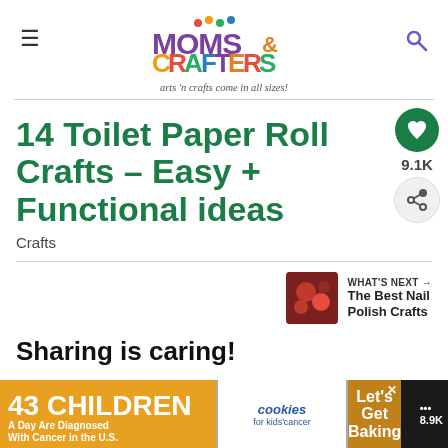[Figure (logo): Moms & Crafters logo with colorful paw print dots and stylized text]
arts 'n crafts come in all sizes!
14 Toilet Paper Roll Crafts – Easy + Functional ideas
Crafts
9.1K
WHAT'S NEXT → The Best Nail Polish Crafts
Sharing is caring!
[Figure (infographic): Advertisement: 43 CHILDREN A Day Are Diagnosed With Cancer in the U.S. / cookies for kids cancer / Let's Get Baking]